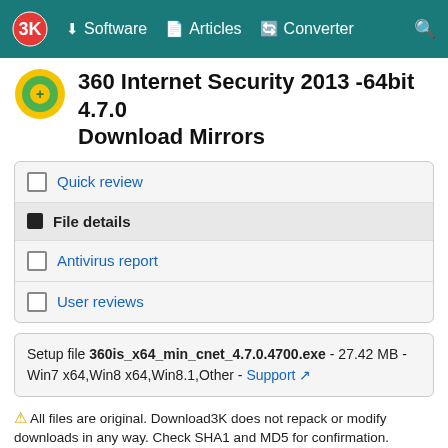Software | Articles | Converter
360 Internet Security 2013 -64bit 4.7.0 Download Mirrors
Quick review
File details
Antivirus report
User reviews
Setup file 360is_x64_min_cnet_4.7.0.4700.exe - 27.42 MB - Win7 x64,Win8 x64,Win8.1,Other - Support
All files are original. Download3K does not repack or modify downloads in any way. Check SHA1 and MD5 for confirmation.
Select a download mirror:
Download3k US (360is_x64_min_cnet_4.7.0.4700.exe)
Download3k EU (360is_x64_min_cnet_4.7.0.4700.exe)
Developer Link 1 (non https 360is_x64_min_cnet_4.7.0.4700.exe)